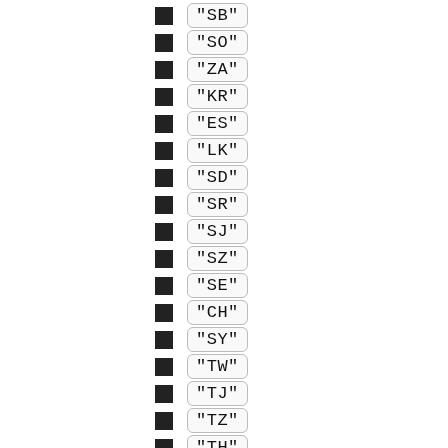"SB"
"SO"
"ZA"
"KR"
"ES"
"LK"
"SD"
"SR"
"SJ"
"SZ"
"SE"
"CH"
"SY"
"TW"
"TJ"
"TZ"
"TH"